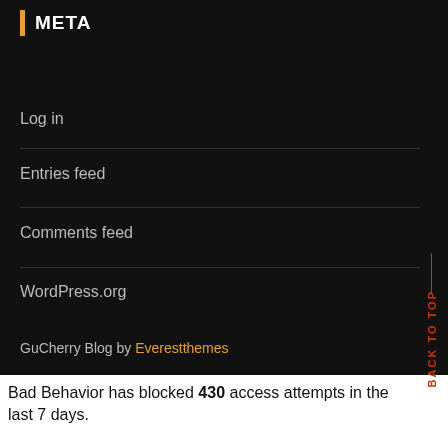META
Log in
Entries feed
Comments feed
WordPress.org
GuCherry Blog by Everestthemes
Bad Behavior has blocked 430 access attempts in the last 7 days.